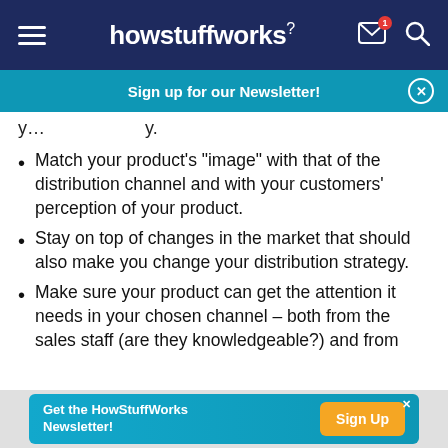howstuffworks
Sign up for our Newsletter!
y...y.
Match your product's "image" with that of the distribution channel and with your customers' perception of your product.
Stay on top of changes in the market that should also make you change your distribution strategy.
Make sure your product can get the attention it needs in your chosen channel – both from the sales staff (are they knowledgeable?) and from
Get the HowStuffWorks Newsletter! Sign Up